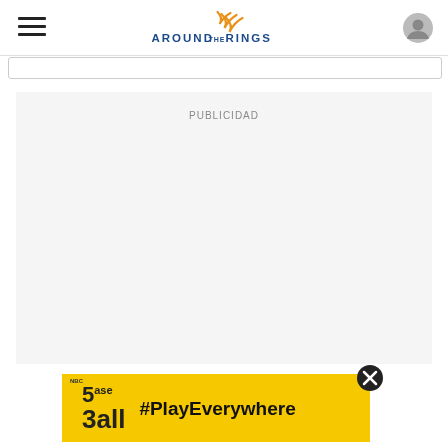Around The Rings
[Figure (logo): Around The Rings logo with orange swoosh and blue text]
PUBLICIDAD
[Figure (screenshot): Yellow banner advertisement for NBC 3Ball show with text #PlayEverywhere and a close button]